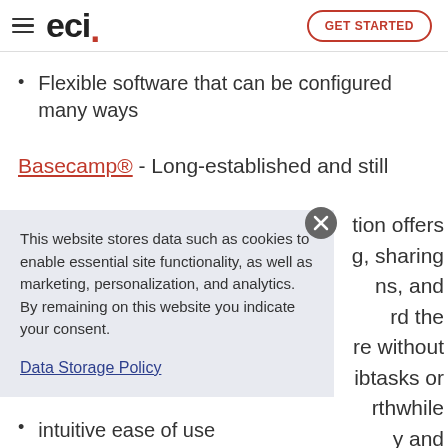eci | GET STARTED
Flexible software that can be configured many ways
Basecamp® - Long-established and still
This website stores data such as cookies to enable essential site functionality, as well as marketing, personalization, and analytics. By remaining on this website you indicate your consent.
Data Storage Policy
tion offers g, sharing ns, and rd the re without ibtasks or rthwhile y and
intuitive ease of use